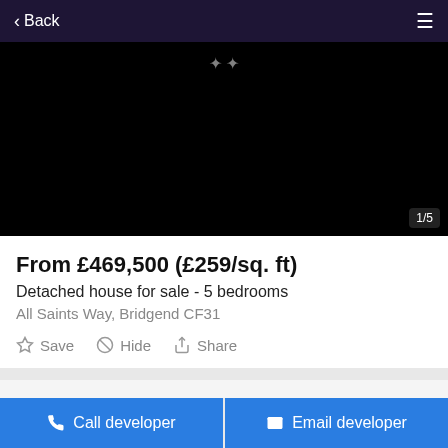Back
[Figure (photo): Black image area showing property photo (not loaded), with image counter 1/5 in bottom right]
From £469,500 (£259/sq. ft)
Detached house for sale - 5 bedrooms
All Saints Way, Bridgend CF31
Save
Hide
Share
The 5-bedroom 'Burton' housetype at our new development of 4 & 5 bedroom, detached homes in the
Call developer
Email developer